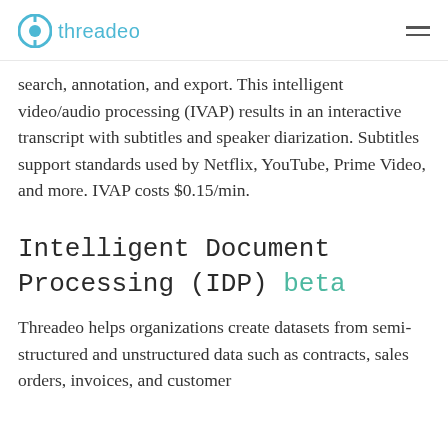threadeo
search, annotation, and export. This intelligent video/audio processing (IVAP) results in an interactive transcript with subtitles and speaker diarization. Subtitles support standards used by Netflix, YouTube, Prime Video, and more. IVAP costs $0.15/min.
Intelligent Document Processing (IDP) beta
Threadeo helps organizations create datasets from semi-structured and unstructured data such as contracts, sales orders, invoices, and customer